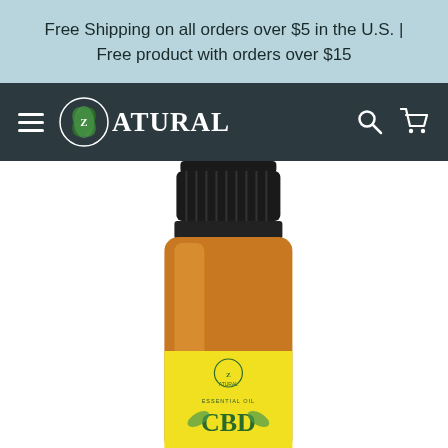Free Shipping on all orders over $5 in the U.S. | Free product with orders over $15
[Figure (screenshot): Navigation bar with hamburger menu, Zatural logo with circular leaf emblem, search icon, and cart icon on dark teal background]
[Figure (photo): Amber glass essential oil bottle with black ribbed cap and yellow label reading 'Zatural Essential Oil CBD', partially cropped at bottom of page]